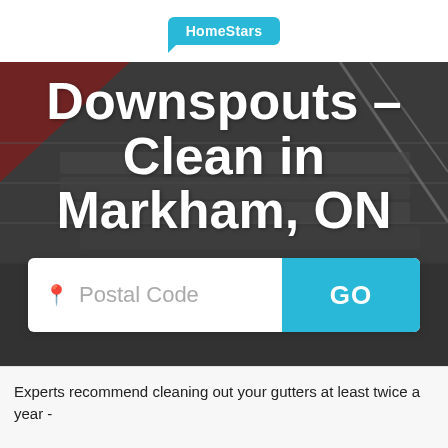[Figure (logo): HomeStars logo in a blue speech bubble]
Downspouts – Clean in Markham, ON
[Figure (screenshot): Postal code search bar with white input field and blue GO button over a dark rooftop background image]
Experts recommend cleaning out your gutters at least twice a year -